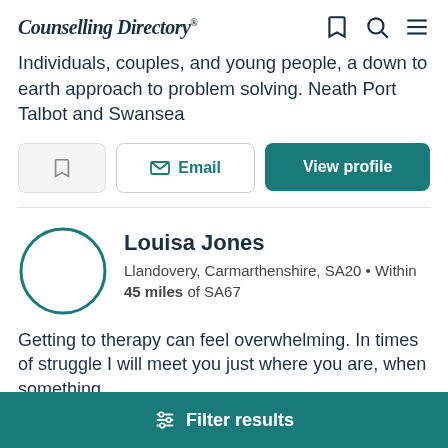Counselling Directory
Individuals, couples, and young people, a down to earth approach to problem solving. Neath Port Talbot and Swansea
Email | View profile
Louisa Jones
Llandovery, Carmarthenshire, SA20 • Within 45 miles of SA67
Getting to therapy can feel overwhelming. In times of struggle I will meet you just where you are, when something
Filter results